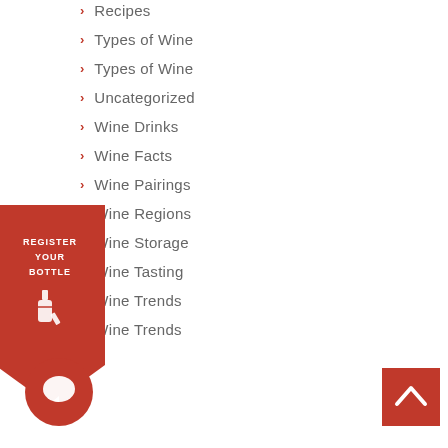Recipes
Types of Wine
Types of Wine
Uncategorized
Wine Drinks
Wine Facts
Wine Pairings
Wine Regions
Wine Storage
Wine Tasting
Wine Trends
Wine Trends
[Figure (illustration): Red diamond-shaped badge with text REGISTER YOUR BOTTLE and a bottle icon]
[Figure (illustration): Red circular chat button with speech bubble icon]
[Figure (illustration): Red square scroll-to-top button with upward chevron]